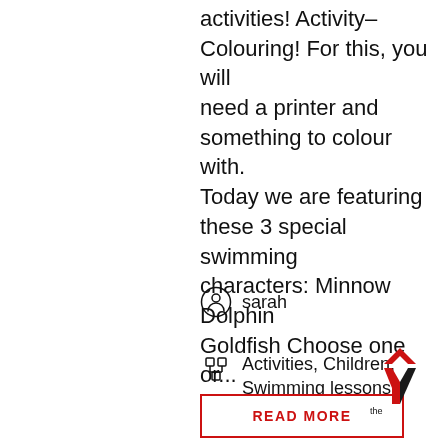activities! Activity– Colouring! For this, you will need a printer and something to colour with. Today we are featuring these 3 special swimming characters: Minnow Dolphin Goldfish Choose one or...
sarah
Activities, Children, Swimming lessons
READ MORE
[Figure (logo): The Y (YMCA) logo — red chevron above a red and black Y shape with 'the' text]